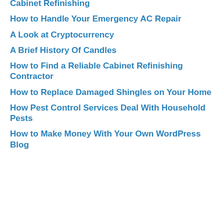Cabinet Refinishing
How to Handle Your Emergency AC Repair
A Look at Cryptocurrency
A Brief History Of Candles
How to Find a Reliable Cabinet Refinishing Contractor
How to Replace Damaged Shingles on Your Home
How Pest Control Services Deal With Household Pests
How to Make Money With Your Own WordPress Blog